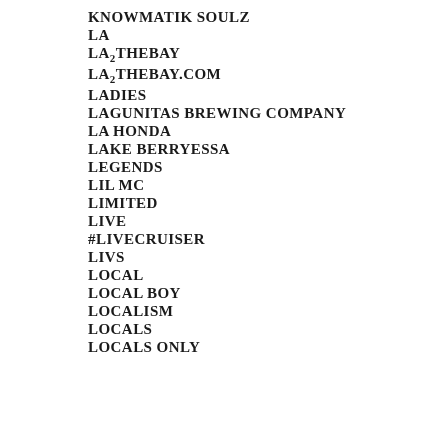KNOWMATIK SOULZ
LA
LA2THEBAY
LA2THEBAY.COM
LADIES
LAGUNITAS BREWING COMPANY
LA HONDA
LAKE BERRYESSA
LEGENDS
LIL MC
LIMITED
LIVE
#LIVECRUISER
LIVS
LOCAL
LOCAL BOY
LOCALISM
LOCALS
LOCALS ONLY